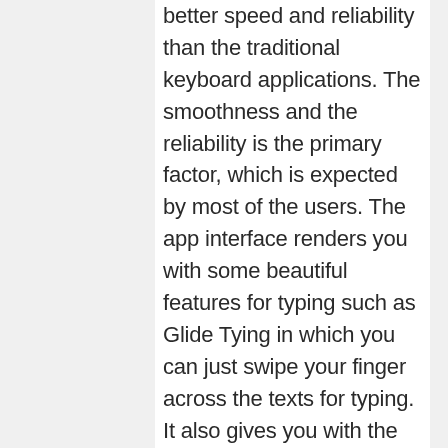better speed and reliability than the traditional keyboard applications. The smoothness and the reliability is the primary factor, which is expected by most of the users. The app interface renders you with some beautiful features for typing such as Glide Tying in which you can just swipe your finger across the texts for typing. It also gives you with the option to sort through your voice command. You can merely dictate the word, and then the word will automatically appear on the screen, you don't even have to touch the keyboard